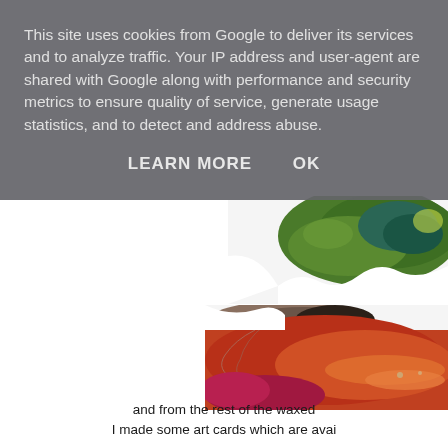This site uses cookies from Google to deliver its services and to analyze traffic. Your IP address and user-agent are shared with Google along with performance and security metrics to ensure quality of service, generate usage statistics, and to detect and address abuse.
LEARN MORE    OK
[Figure (photo): Close-up of green and teal textured waxed art material, possibly felt or encaustic artwork, on white background]
[Figure (photo): Close-up of red, orange, and brown textured waxed art material with fine hair-like fibers, on white background]
and from the rest of the waxed
I made some art cards which are avai